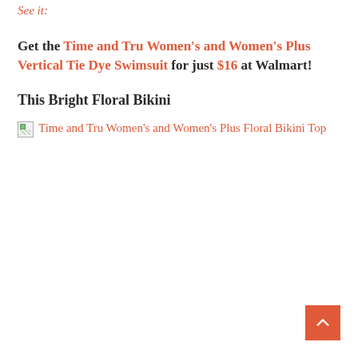See it:
Get the Time and Tru Women's and Women's Plus Vertical Tie Dye Swimsuit for just $16 at Walmart!
This Bright Floral Bikini
[Figure (photo): Broken image placeholder with alt text: Time and Tru Women's and Women's Plus Floral Bikini Top]